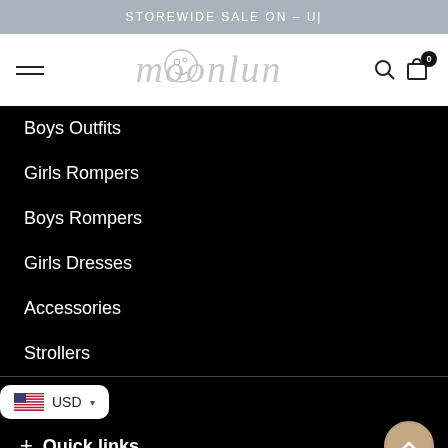STOREWIDE SALE ON – U|
[Figure (logo): moonlun brand logo with decorative text and moon face illustration]
Boys Outfits
Girls Rompers
Boys Rompers
Girls Dresses
Accessories
Strollers
USD
+ Quick links